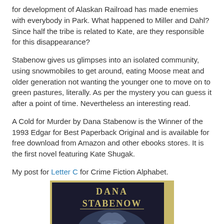for development of Alaskan Railroad has made enemies with everybody in Park. What happened to Miller and Dahl? Since half the tribe is related to Kate, are they responsible for this disappearance?
Stabenow gives us glimpses into an isolated community, using snowmobiles to get around, eating Moose meat and older generation not wanting the younger one to move on to green pastures, literally. As per the mystery you can guess it after a point of time. Nevertheless an interesting read.
A Cold for Murder by Dana Stabenow is the Winner of the 1993 Edgar for Best Paperback Original and is available for free download from Amazon and other ebooks stores. It is the first novel featuring Kate Shugak.
My post for Letter C for Crime Fiction Alphabet.
[Figure (photo): Book cover of Dana Stabenow novel, showing the author's name in gold text on a dark background with illustrated imagery]